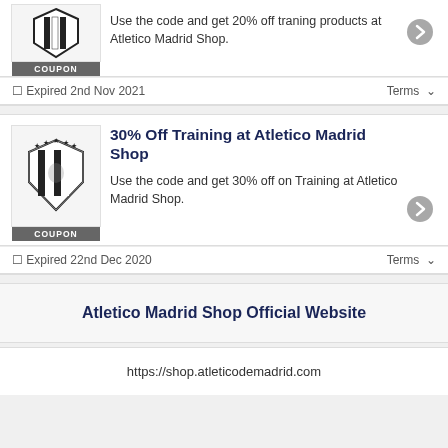[Figure (logo): Atletico Madrid shield logo (black and white stripes)]
Use the code and get 20% off traning products at Atletico Madrid Shop.
Expired 2nd Nov 2021   Terms
[Figure (logo): Atletico Madrid crest logo with stars]
30% Off Training at Atletico Madrid Shop
Use the code and get 30% off on Training at Atletico Madrid Shop.
Expired 22nd Dec 2020   Terms
Atletico Madrid Shop Official Website
https://shop.atleticodemadrid.com